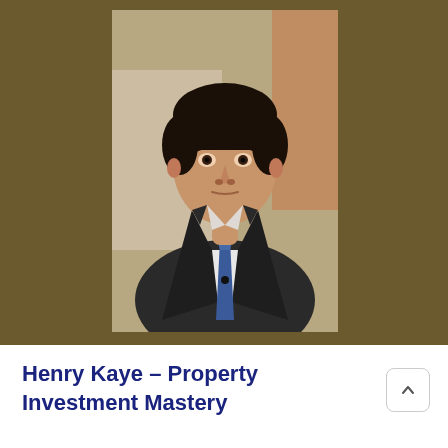[Figure (photo): Portrait photo of a young man in a dark suit and blue tie, with dark hair, against a brownish background. The photo is centered on a dark brown/olive background panel.]
Henry Kaye – Property Investment Mastery